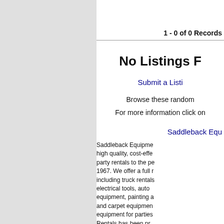1 - 0 of 0 Records
No Listings F
Submit a Listi
Browse these random
For more information click on
Saddleback Equ
Saddleback Equipme high quality, cost-effe party rentals to the pe 1967. We offer a full r including truck rentals electrical tools, auto equipment, painting a and carpet equipmen equipment for parties Rentals has been pr effective tool, equipm people of Orange Co full range of tools and rentals, power tools, automotive tools, la